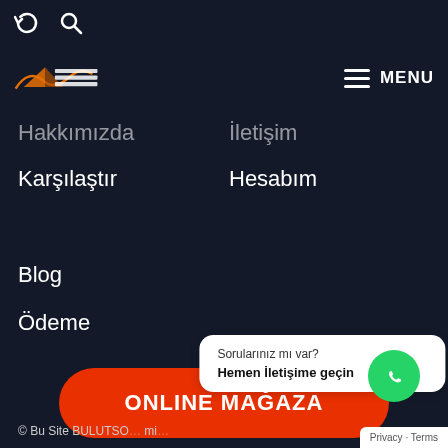[Figure (screenshot): Refresh and search icons at top left]
[Figure (logo): Dıştan Takma Motor website logo with orange boat graphic]
MENU
Hakkımızda
İletişim
Karşılaştır
Hesabım
Blog
Ödeme
ONLINE MAĞAZA
Sorularınız mı var?
Hemen İletişime geçin
© Bu Site BULUTSO... mi...
Privacy · Terms